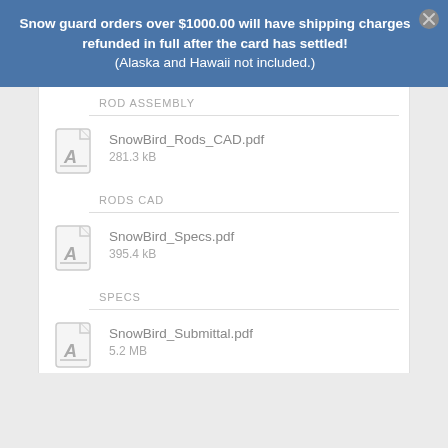Snow guard orders over $1000.00 will have shipping charges refunded in full after the card has settled! (Alaska and Hawaii not included.)
ROD ASSEMBLY
[Figure (illustration): PDF file icon for SnowBird_Rods_CAD.pdf]
SnowBird_Rods_CAD.pdf
281.3 kB
RODS CAD
[Figure (illustration): PDF file icon for SnowBird_Specs.pdf]
SnowBird_Specs.pdf
395.4 kB
SPECS
[Figure (illustration): PDF file icon for SnowBird_Submittal.pdf]
SnowBird_Submittal.pdf
5.2 MB